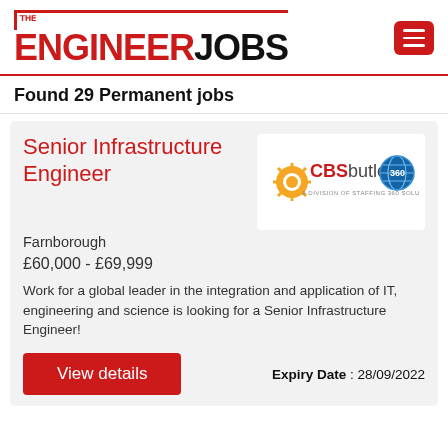THE ENGINEER JOBS
Found 29 Permanent jobs
Senior Infrastructure Engineer
[Figure (logo): CBSbutler company logo with orange/blue gear icon and globe icon, text reads 'CBSbutler A DIVISION OF STAFFING 360 SOLUTIONS']
Farnborough
£60,000 - £69,999
Work for a global leader in the integration and application of IT, engineering and science is looking for a Senior Infrastructure Engineer!
View details
Expiry Date : 28/09/2022